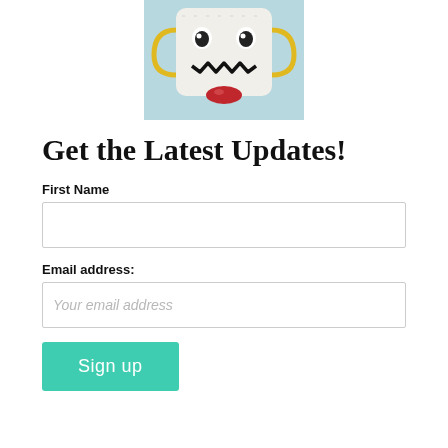[Figure (photo): A knitted toy character with a white body, cartoon eyes, zigzag mouth in black, yellow ear/handle details, and a red element at the bottom, photographed against a light blue background.]
Get the Latest Updates!
First Name
Email address:
Sign up